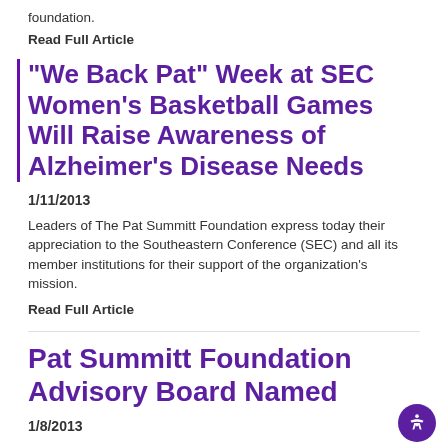foundation.
Read Full Article
“We Back Pat” Week at SEC Women’s Basketball Games Will Raise Awareness of Alzheimer’s Disease Needs
1/11/2013
Leaders of The Pat Summitt Foundation express today their appreciation to the Southeastern Conference (SEC) and all its member institutions for their support of the organization’s mission.
Read Full Article
Pat Summitt Foundation Advisory Board Named
1/8/2013